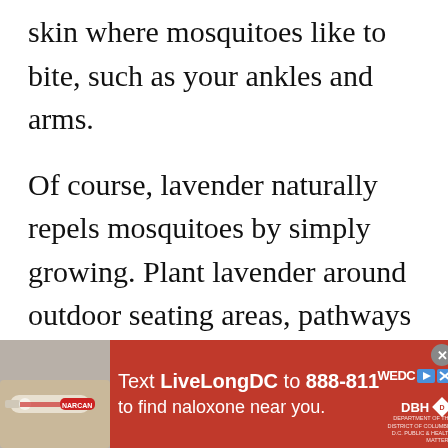skin where mosquitoes like to bite, such as your ankles and arms.
Of course, lavender naturally repels mosquitoes by simply growing. Plant lavender around outdoor seating areas, pathways and near doorways and windows. The scent produced by the plant wards off mosquitoes and other bugs. Lavender can be successfully
[Figure (infographic): Red advertisement banner for LiveLongDC naloxone awareness campaign. Shows a hand holding a naloxone device on the left, text 'Text LiveLongDC to 888-811 to find naloxone near you.' in white on red background, with WEDC and DBH logos on the right and a close button.]